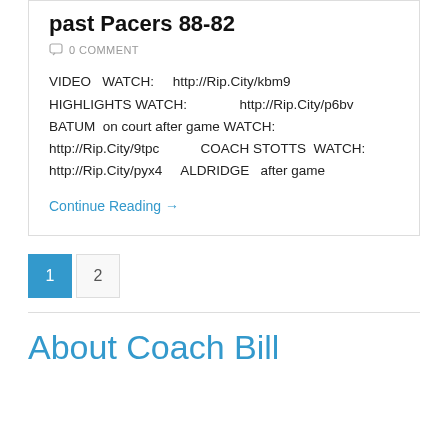past Pacers 88-82
0 COMMENT
VIDEO WATCH: http://Rip.City/kbm9 HIGHLIGHTS WATCH: http://Rip.City/p6bv BATUM on court after game WATCH: http://Rip.City/9tpc COACH STOTTS WATCH: http://Rip.City/pyx4 ALDRIDGE after game
Continue Reading →
1 2
About Coach Bill